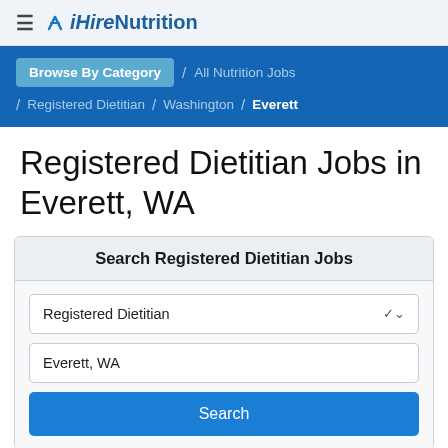iHireNutrition
Browse By Category / All Nutrition Jobs / Registered Dietitian / Washington / Everett
Registered Dietitian Jobs in Everett, WA
Search Registered Dietitian Jobs
Registered Dietitian
Everett, WA
Search